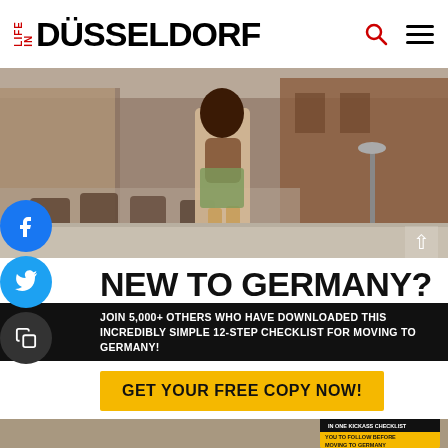LIFE IN DÜSSELDORF
[Figure (photo): Street scene in Düsseldorf showing a woman with a backpack walking away from camera, outdoor café seating visible]
NEW TO GERMANY?
JOIN 5,000+ OTHERS WHO HAVE DOWNLOADED THIS INCREDIBLY SIMPLE 12-STEP CHECKLIST FOR MOVING TO GERMANY!
GET YOUR FREE COPY NOW!
[Figure (photo): Life in Germany checklist booklet and related documents spread out]